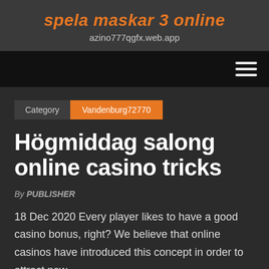spela maskar 3 online
azino777qgfx.web.app
Category  Vandenburg72770
Högmiddag salong online casino tricks
By PUBLISHER
18 Dec 2020 Every player likes to have a good casino bonus, right? We believe that online casinos have introduced this concept in order to attract new